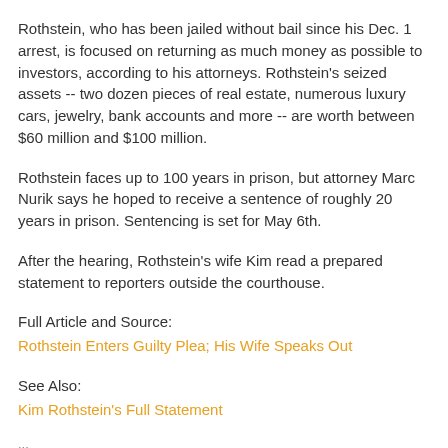Rothstein, who has been jailed without bail since his Dec. 1 arrest, is focused on returning as much money as possible to investors, according to his attorneys. Rothstein's seized assets -- two dozen pieces of real estate, numerous luxury cars, jewelry, bank accounts and more -- are worth between $60 million and $100 million.
Rothstein faces up to 100 years in prison, but attorney Marc Nurik says he hoped to receive a sentence of roughly 20 years in prison. Sentencing is set for May 6th.
After the hearing, Rothstein's wife Kim read a prepared statement to reporters outside the courthouse.
Full Article and Source:
Rothstein Enters Guilty Plea; His Wife Speaks Out
See Also:
Kim Rothstein's Full Statement